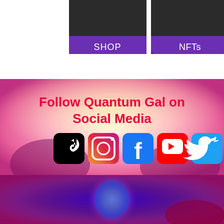[Figure (screenshot): Two app navigation buttons: SHOP (left) and NFTs (right), both with dark top and purple bottom, rounded bottom corners]
[Figure (infographic): Social media follow banner for Quantum Gal with colorful concert background, bold red text 'Follow Quantum Gal on Social Media', and icons for TikTok, Instagram, Facebook, YouTube, and Twitter]
[Figure (photo): Abstract glowing circular light art image with purple, blue, pink and white tones on dark background]